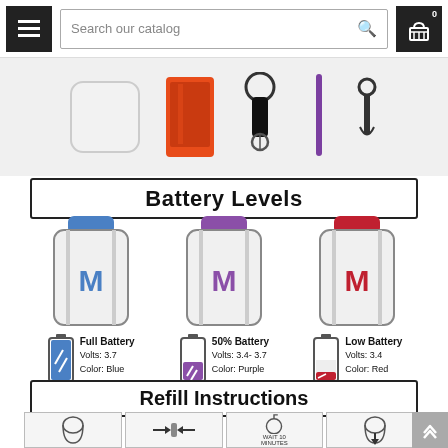Search our catalog
[Figure (photo): Product images strip showing white device, red case, black keychain, purple lanyard, and black clip accessories]
Battery Levels
[Figure (infographic): Three vape device illustrations with battery indicators: Full Battery (Volts: 3.7, Color: Blue), 50% Battery (Volts: 3.4-3.7, Color: Purple), Low Battery (Volts: 3.4, Color: Red)]
Refill Instructions
[Figure (infographic): Refill instruction images showing step-by-step process]